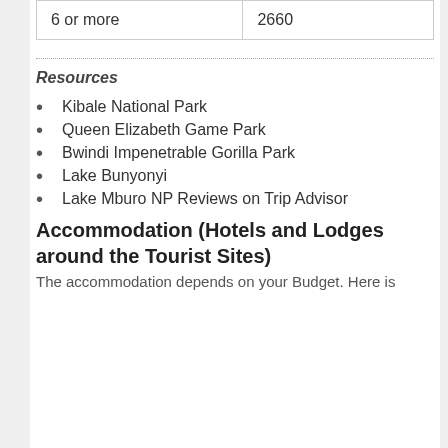| 6 or more | 2660 |
Resources
Kibale National Park
Queen Elizabeth Game Park
Bwindi Impenetrable Gorilla Park
Lake Bunyonyi
Lake Mburo NP Reviews on Trip Advisor
Accommodation (Hotels and Lodges around the Tourist Sites)
The accommodation depends on your Budget. Here is